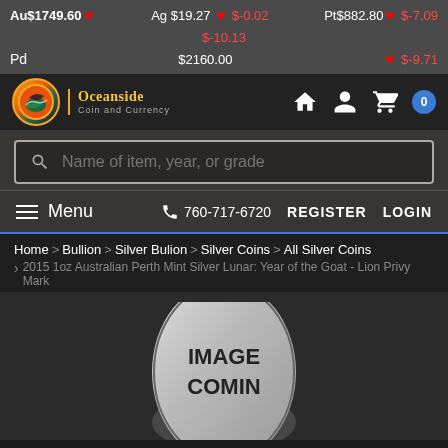Au$1749.60 ▼ $-10.13  Ag $19.27 ▼ $-0.02  Pt$882.80 ▼ $-7.09  Pd $2160.00 ▼ $-9.71
[Figure (logo): Oceanside Coin and Currency logo - circular emblem with tropical design, gold and green colors]
[Figure (screenshot): Navigation icons: home, user account, shopping cart with 0 badge]
Name of item, year, or grade
Menu  760-717-6720  REGISTER  LOGIN
Home > Bullion > Silver Bulion > Silver Coins > All Silver Coins
2015 1oz Australian Perth Mint Silver Lunar: Year of the Goat - Lion Privy Mark
[Figure (photo): Coin product image placeholder showing 'IMAGE COMING' text on a silver coin shaped background]